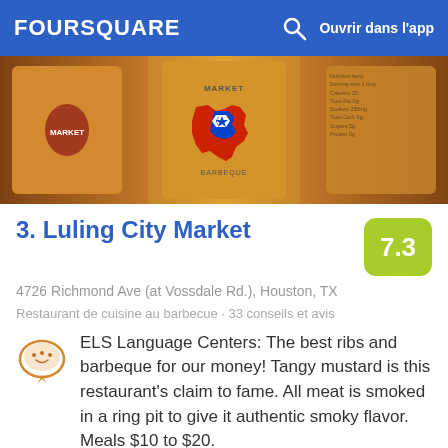FOURSQUARE  Ouvrir dans l'app
[Figure (photo): Photo of orange barbecue sauce bottles with Texas logo, showing product labels]
3. Luling City Market
7.3
4726 Richmond Ave (at Vossdale Rd.), Houston, TX
Restaurant de cuisine au barbecue · 33 conseils et avis
ELS Language Centers: The best ribs and barbeque for our money! Tangy mustard is this restaurant's claim to fame. All meat is smoked in a ring pit to give it authentic smoky flavor. Meals $10 to $20.